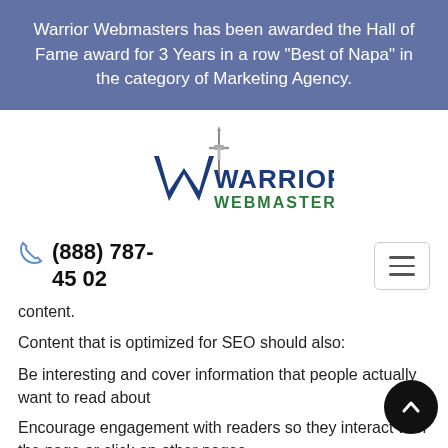Warrior Webmasters has been awarded the Hall of Fame award for 3 Years in a row "Best of Napa" in the category of Marketing Agency.
[Figure (logo): Warrior Webmasters logo: a sword above a blue W with 'WARRIOR WEBMASTERS' text in blue and green]
(888) 787-4502
content.
Content that is optimized for SEO should also:
Be interesting and cover information that people actually want to read about
Encourage engagement with readers so they interact with the page or click on other pages
Be something that people want to link to and share on social media